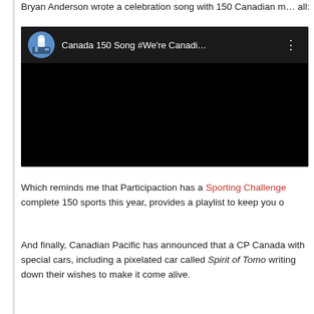Bryan Anderson wrote a celebration song with 150 Canadian musicians to be enjoyed by all:
[Figure (screenshot): Embedded YouTube video player showing 'Canada 150 Song #We're Canadi...' with a dark/black video area and channel avatar showing a person sitting at a piano.]
Which reminds me that Participaction has a Sporting Challenge complete 150 sports this year, provides a playlist to keep you o
And finally, Canadian Pacific has announced that a CP Canada with special cars, including a pixelated car called Spirit of Tomo writing down their wishes to make it come alive.